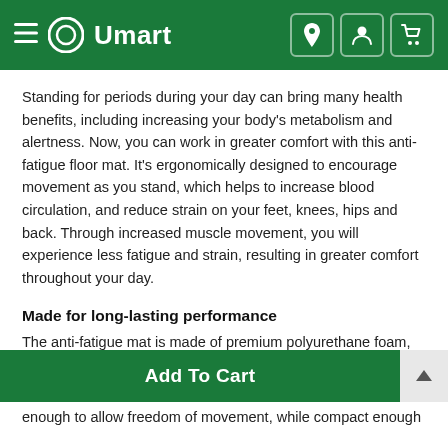Umart
Standing for periods during your day can bring many health benefits, including increasing your body's metabolism and alertness. Now, you can work in greater comfort with this anti-fatigue floor mat. It's ergonomically designed to encourage movement as you stand, which helps to increase blood circulation, and reduce strain on your feet, knees, hips and back. Through increased muscle movement, you will experience less fatigue and strain, resulting in greater comfort throughout your day.
Made for long-lasting performance
The anti-fatigue mat is made of premium polyurethane foam, providing effective cushioning for maximum comfort and durability. The water-resistant surface is designed for long-lasting performance, while the unique mat is large enough to allow freedom of movement, while compact enough to suit any workspace.